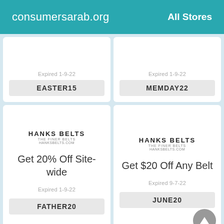consumersarab.org   All Stores
Expired 1-9-22
EASTER15
Expired 1-9-22
MEMDAY22
[Figure (logo): HANKS BELTS logo with tagline]
Get 20% Off Site-wide
Expired 1-9-22
FATHER20
[Figure (logo): HANKS BELTS logo with tagline]
Get $20 Off Any Belt
Expired 9-7-22
JUNE20